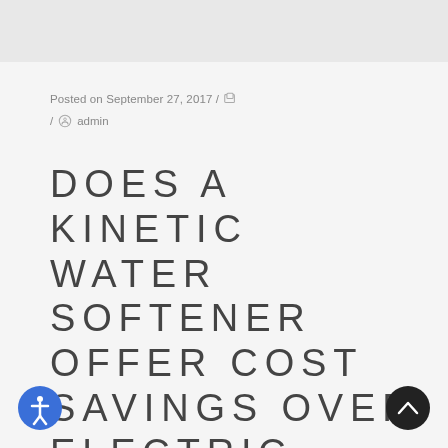Posted on September 27, 2017 / / admin
DOES A KINETIC WATER SOFTENER OFFER COST SAVINGS OVER ELECTRIC WATER SOFTENERS?